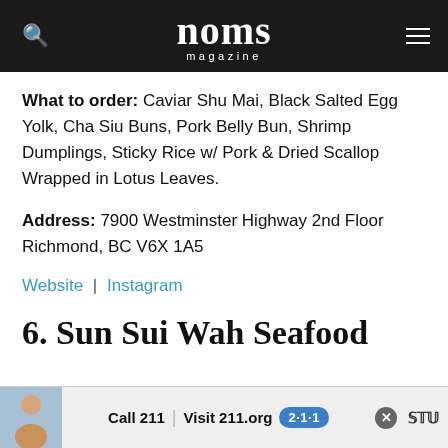noms magazine
What to order: Caviar Shu Mai, Black Salted Egg Yolk, Cha Siu Buns, Pork Belly Bun, Shrimp Dumplings, Sticky Rice w/ Pork & Dried Scallop Wrapped in Lotus Leaves.
Address: 7900 Westminster Highway 2nd Floor Richmond, BC V6X 1A5
Website | Instagram
6. Sun Sui Wah Seafood
[Figure (screenshot): Advertisement banner: Call 211 | Visit 211.org with 211 badge logo, photo of child, close button, and additional logo on right]